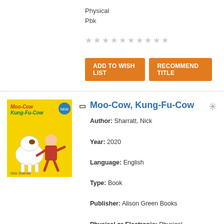Physical
Pbk
[Figure (other): Row of 10 empty grey star rating icons]
ADD TO WISH LIST   RECOMMEND TITLE
Moo-Cow, Kung-Fu-Cow
Author: Sharratt, Nick
Year: 2020
Language: English
Type: Book
Publisher: Alison Green Books
Physical or Electronic: Physical
Note: Originally published: 2009 With five flaps to lift - this book is full of surprises
[Figure (illustration): Book cover of Moo-Cow, Kung-Fu-Cow with yellow background, cartoon cow and character]